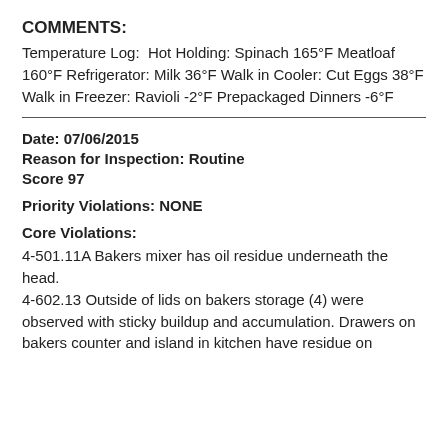COMMENTS:
Temperature Log:  Hot Holding: Spinach 165°F Meatloaf 160°F Refrigerator: Milk 36°F Walk in Cooler: Cut Eggs 38°F Walk in Freezer: Ravioli -2°F Prepackaged Dinners -6°F
Date: 07/06/2015
Reason for Inspection: Routine
Score 97
Priority Violations: NONE
Core Violations:
4-501.11A Bakers mixer has oil residue underneath the head.
4-602.13 Outside of lids on bakers storage (4) were observed with sticky buildup and accumulation. Drawers on bakers counter and island in kitchen have residue on